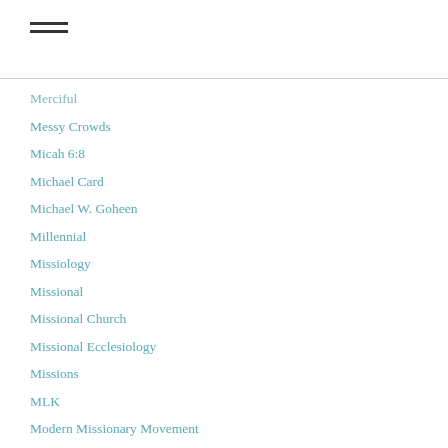Merciful
Messy Crowds
Micah 6:8
Michael Card
Michael W. Goheen
Millennial
Missiology
Missional
Missional Church
Missional Ecclesiology
Missions
MLK
Modern Missionary Movement
Mother Teresa
Movement Day
Neighbohoods
Noel Castellanos
Non-Ordinary Church